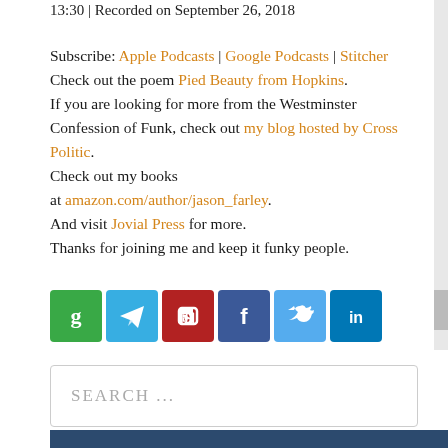13:30 | Recorded on September 26, 2018
Subscribe: Apple Podcasts | Google Podcasts | Stitcher
Check out the poem Pied Beauty from Hopkins.
If you are looking for more from the Westminster Confession of Funk, check out my blog hosted by Cross Politic.
Check out my books at amazon.com/author/jason_farley.
And visit Jovial Press for more.
Thanks for joining me and keep it funky people.
[Figure (infographic): Row of six social media share icons: Goodreads (green), Telegram (blue), Parler (red), Facebook (dark blue), Twitter (light blue), LinkedIn (dark blue)]
SEARCH ...